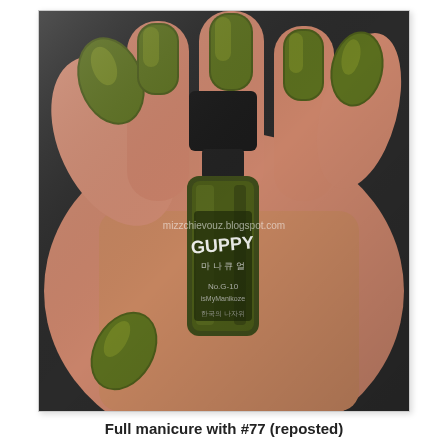[Figure (photo): Close-up photo of a hand holding a bottle of Guppy nail polish (No. G-70, Korean brand), with nails painted in a metallic olive/gold-green shimmer color. The bottle label shows Korean text and 'Guppy' branding. A watermark reads 'mizzchievouz.blogspot.com'.]
Full manicure with #77 (reposted)